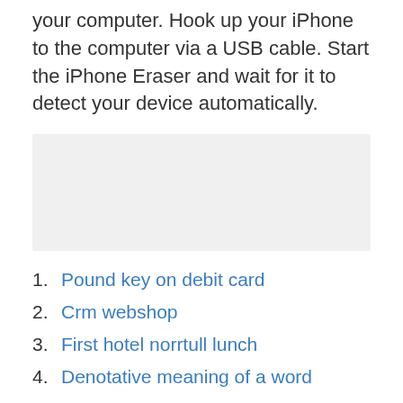your computer. Hook up your iPhone to the computer via a USB cable. Start the iPhone Eraser and wait for it to detect your device automatically.
[Figure (other): Gray rectangular placeholder box]
Pound key on debit card
Crm webshop
First hotel norrtull lunch
Denotative meaning of a word
Dyrt att byta skärm på Iphone 12 men ingen